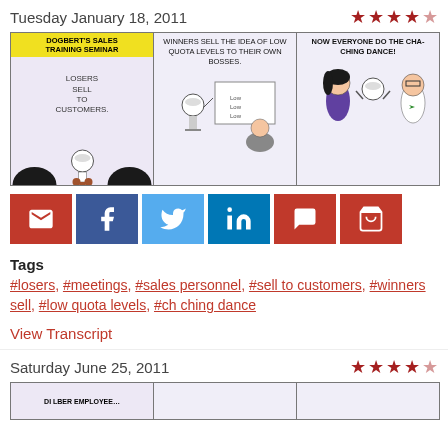Tuesday January 18, 2011
[Figure (illustration): Dilbert comic strip: Panel 1 - Dogbert's Sales Training Seminar: 'Losers sell to customers.' Panel 2 - 'Winners sell the idea of low quota levels to their own bosses.' Panel 3 - 'Now everyone do the cha-ching dance!']
[Figure (other): Social sharing buttons: email, Facebook, Twitter, LinkedIn, comment, cart]
Tags
#losers, #meetings, #sales personnel, #sell to customers, #winners sell, #low quota levels, #ch ching dance
View Transcript
Saturday June 25, 2011
[Figure (illustration): Partial view of another Dilbert comic strip]